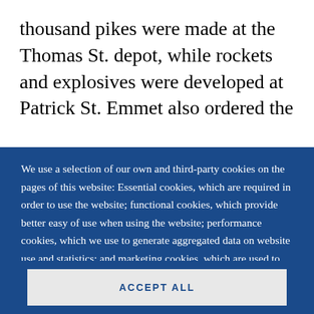thousand pikes were made at the Thomas St. depot, while rockets and explosives were developed at Patrick St. Emmet also ordered the
We use a selection of our own and third-party cookies on the pages of this website: Essential cookies, which are required in order to use the website; functional cookies, which provide better easy of use when using the website; performance cookies, which we use to generate aggregated data on website use and statistics; and marketing cookies, which are used to display relevant content and advertising. If you choose "ACCEPT ALL", you consent to the use of all cookies. You can accept and
ACCEPT ALL